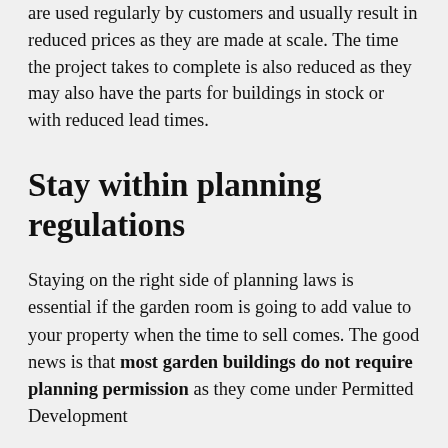are used regularly by customers and usually result in reduced prices as they are made at scale. The time the project takes to complete is also reduced as they may also have the parts for buildings in stock or with reduced lead times.
Stay within planning regulations
Staying on the right side of planning laws is essential if the garden room is going to add value to your property when the time to sell comes. The good news is that most garden buildings do not require planning permission as they come under Permitted Development